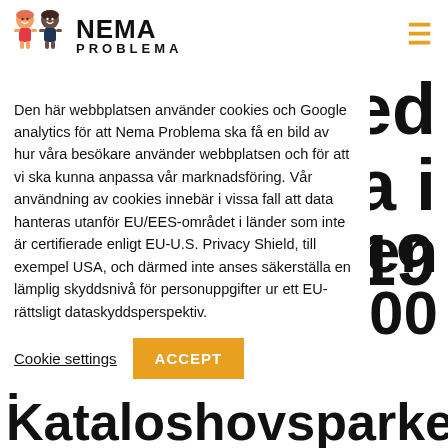[Figure (logo): Nema Problema logo with two cartoon child figures and bold text NEMA PROBLEMA]
Den här webbplatsen använder cookies och Google analytics för att Nema Problema ska få en bild av hur våra besökare använder webbplatsen och för att vi ska kunna anpassa vår marknadsföring. Vår användning av cookies innebär i vissa fall att data hanteras utanför EU/EES-området i länder som inte är certifierade enligt EU-U.S. Privacy Shield, till exempel USA, och därmed inte anses säkerställa en lämplig skyddsnivå för personuppgifter ur ett EU-rättsligt dataskyddsperspektiv.
Cookie settings  ACCEPT
med
a i
n 2019
le! Den
an 3000
personer i Kataloshovsparken